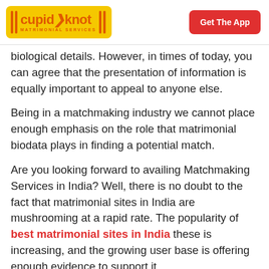cupid knot MATRIMONIAL SERVICES | Get The App
biological details. However, in times of today, you can agree that the presentation of information is equally important to appeal to anyone else.
Being in a matchmaking industry we cannot place enough emphasis on the role that matrimonial biodata plays in finding a potential match.
Are you looking forward to availing Matchmaking Services in India? Well, there is no doubt to the fact that matrimonial sites in India are mushrooming at a rapid rate. The popularity of best matrimonial sites in India these is increasing, and the growing user base is offering enough evidence to support it.